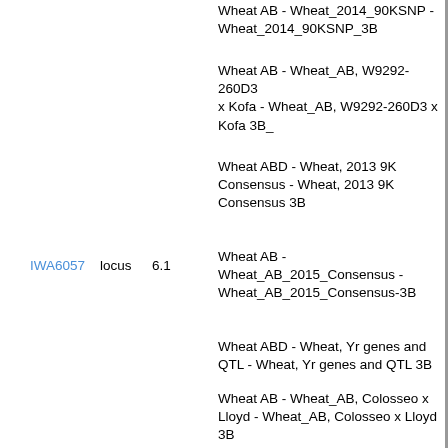Wheat AB - Wheat_2014_90KSNP_3B
Wheat AB - Wheat_AB, W9292-260D3 x Kofa - Wheat_AB, W9292-260D3 x Kofa 3B_
Wheat ABD - Wheat, 2013 9K Consensus - Wheat, 2013 9K Consensus 3B
IWA6057  locus  6.1
Wheat AB - Wheat_AB_2015_Consensus - Wheat_AB_2015_Consensus-3B
Wheat ABD - Wheat, Yr genes and QTL - Wheat, Yr genes and QTL 3B
Wheat AB - Wheat_AB, Colosseo x Lloyd - Wheat_AB, Colosseo x Lloyd 3B
Wheat AB - Wheat_AB, Ben x PI41025 - Wheat_AB, Ben x PI41025 3B
Wheat ABD - Wheat_2014_90KSNP - Wheat_2014_90KSNP_3B